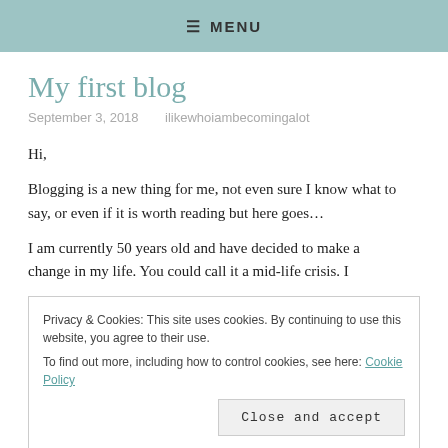≡ MENU
My first blog
September 3, 2018   ilikewhoiambecomingalot
Hi,
Blogging is a new thing for me, not even sure I know what to say, or even if it is worth reading but here goes…
I am currently 50 years old and have decided to make a change in my life. You could call it a mid-life crisis. I
Privacy & Cookies: This site uses cookies. By continuing to use this website, you agree to their use.
To find out more, including how to control cookies, see here: Cookie Policy
Close and accept
All during this time and probably earlier, I have enjoyed